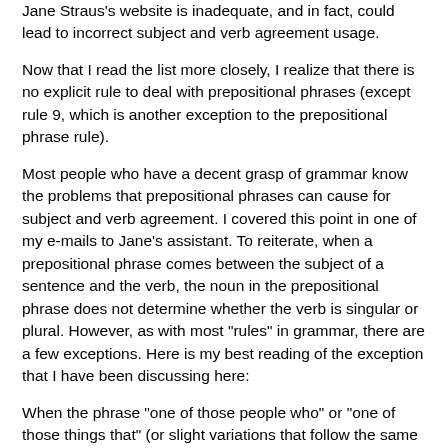Jane Straus's website is inadequate, and in fact, could lead to incorrect subject and verb agreement usage.
Now that I read the list more closely, I realize that there is no explicit rule to deal with prepositional phrases (except rule 9, which is another exception to the prepositional phrase rule).
Most people who have a decent grasp of grammar know the problems that prepositional phrases can cause for subject and verb agreement. I covered this point in one of my e-mails to Jane's assistant. To reiterate, when a prepositional phrase comes between the subject of a sentence and the verb, the noun in the prepositional phrase does not determine whether the verb is singular or plural. However, as with most "rules" in grammar, there are a few exceptions. Here is my best reading of the exception that I have been discussing here:
When the phrase "one of those people who" or "one of those things that" (or slight variations that follow the same construction) is followed by a dependent clause starting with who, that, or which, the relative pronoun can possibly refer to